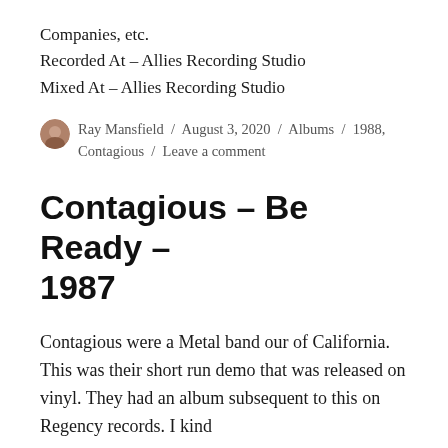Companies, etc.
Recorded At – Allies Recording Studio
Mixed At – Allies Recording Studio
Ray Mansfield / August 3, 2020 / Albums / 1988, Contagious / Leave a comment
Contagious – Be Ready – 1987
Contagious were a Metal band our of California. This was their short run demo that was released on vinyl. They had an album subsequent to this on Regency records. I kind